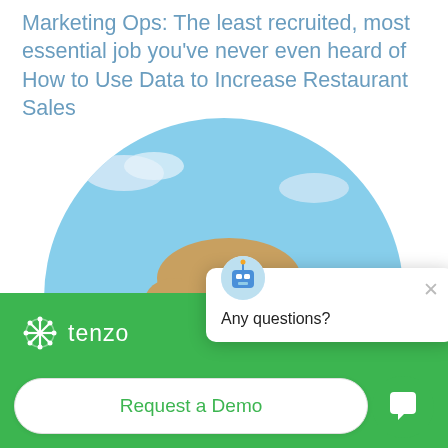Marketing Ops: The least recruited, most essential job you've never even heard of
How to Use Data to Increase Restaurant Sales
[Figure (photo): Circular cropped photo of a young man smiling outdoors, with a historic tower and city skyline in the background under a blue sky.]
[Figure (screenshot): Chat popup widget with robot/emoji icon, an X close button, and the text 'Any questions?']
[Figure (logo): Tenzo logo: green snowflake/grid icon and the word 'tenzo' in white on a green background bar.]
Request a Demo
[Figure (other): Green circular chat button with white speech bubble icon in the bottom-right corner.]